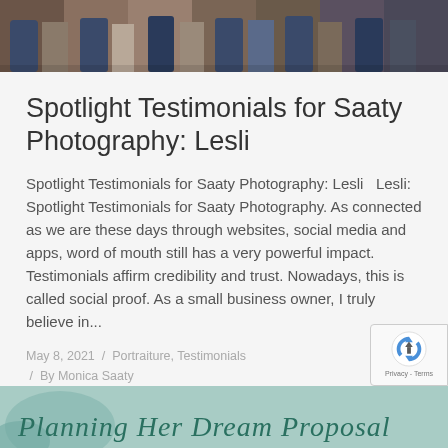[Figure (photo): Group photo of people standing outdoors with a rocky/desert background, showing lower half of bodies]
Spotlight Testimonials for Saaty Photography: Lesli
Spotlight Testimonials for Saaty Photography: Lesli   Lesli: Spotlight Testimonials for Saaty Photography. As connected as we are these days through websites, social media and apps, word of mouth still has a very powerful impact. Testimonials affirm credibility and trust. Nowadays, this is called social proof. As a small business owner, I truly believe in...
May 8, 2021  /  Portraiture, Testimonials  /  By Monica Saaty
[Figure (photo): Partial view of a styled photo with cursive text overlay reading 'Planning Her Dream Proposal' on a teal/mint background]